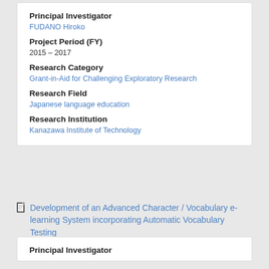Principal Investigator
FUDANO Hiroko
Project Period (FY)
2015 – 2017
Research Category
Grant-in-Aid for Challenging Exploratory Research
Research Field
Japanese language education
Research Institution
Kanazawa Institute of Technology
Development of an Advanced Character / Vocabulary e-learning System incorporating Automatic Vocabulary Testing
Principal Investigator